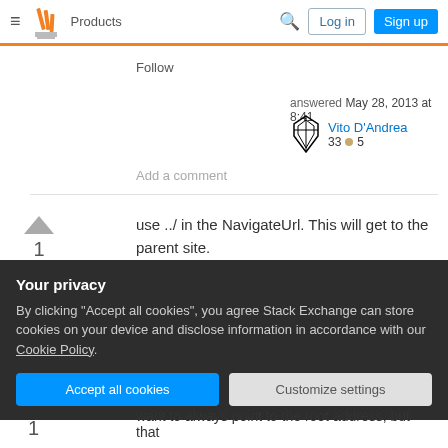≡  [StackOverflow logo]  Products   🔍   Log in   Sign up
Follow
answered May 28, 2013 at 8:41
Vito D'Andrea
33 ● 5
Add a comment
use ../ in the NavigateUrl. This will get to the parent site.
Share
answered Oct 3, 2013 at 17:10
Your privacy
By clicking "Accept all cookies", you agree Stack Exchange can store cookies on your device and disclose information in accordance with our Cookie Policy.
Accept all cookies   Customize settings
want to always point to the root address, but that